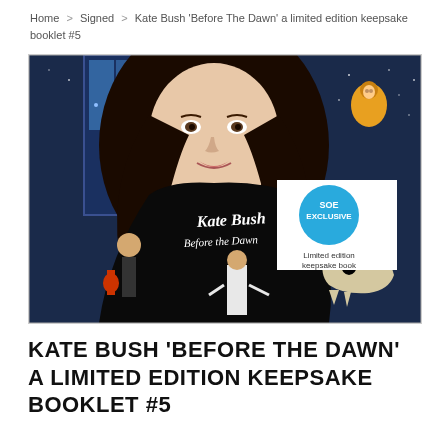Home > Signed > Kate Bush 'Before The Dawn' a limited edition keepsake booklet #5
[Figure (illustration): Cover artwork for Kate Bush 'Before The Dawn' limited edition keepsake book. Features illustrated portrait of Kate Bush with 'Kate Bush Before the Dawn' text, a musician with red guitar, a scientist figure with a red moon, dinosaur skull, astronaut, and a blue circular 'SOE EXCLUSIVE - Limited edition keepsake book' badge overlay.]
KATE BUSH 'BEFORE THE DAWN' A LIMITED EDITION KEEPSAKE BOOKLET #5